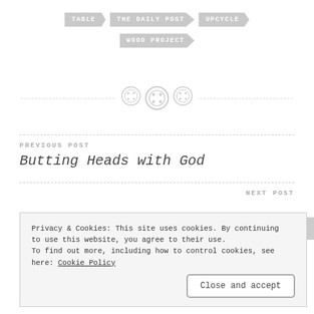TABLE
THE DAILY POST
UPCYCLE
WOOD PROJECT
[Figure (illustration): Three button icons used as a decorative divider between sections]
PREVIOUS POST
Butting Heads with God
NEXT POST
Privacy & Cookies: This site uses cookies. By continuing to use this website, you agree to their use.
To find out more, including how to control cookies, see here: Cookie Policy
Close and accept